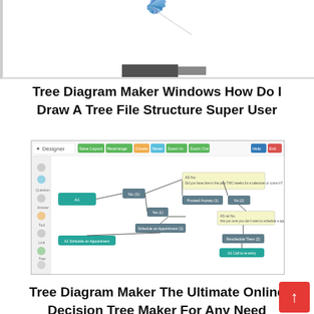[Figure (screenshot): Partial top image strip showing a decorative graphic or logo with blue/teal fan-like shapes, partially cut off at the top of the page.]
Tree Diagram Maker Windows How Do I Draw A Tree File Structure Super User
[Figure (screenshot): Screenshot of a Designer web application showing a decision tree/flowchart for 'Agent Script - Set Appointment'. The canvas shows connected nodes including teal/green rectangular boxes with labels like 'A1', 'No (1)', 'Yes (1)', 'Schedule an Appointment (1)', 'A1 Schedule an Appointment', 'Proceed Anyway (1)', 'No (2)', 'Reschedule Them (2)', 'A1 Call to re-entry', and a yellow decision box 'AS No: Did you have time in the past TWO weeks for a salesman or come in?'. Nodes are connected with lines. Left sidebar shows tool icons.]
Tree Diagram Maker The Ultimate Online Decision Tree Maker For Any Need